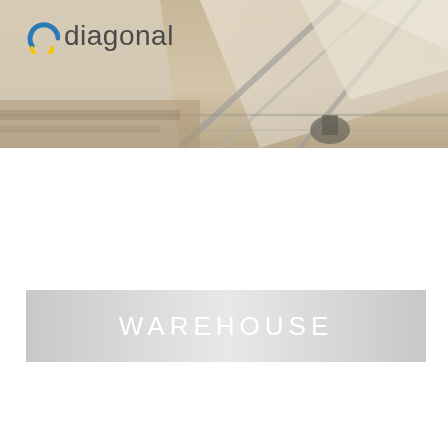[Figure (photo): Warehouse interior ceiling photo showing structural beams and translucent roof panels, viewed from below at an angle. Warm brown/beige tones.]
[Figure (logo): Diagonal company logo: a stylized circular arc icon in blue and yellow, followed by the word 'diagonal' in dark gray sans-serif text.]
WAREHOUSE